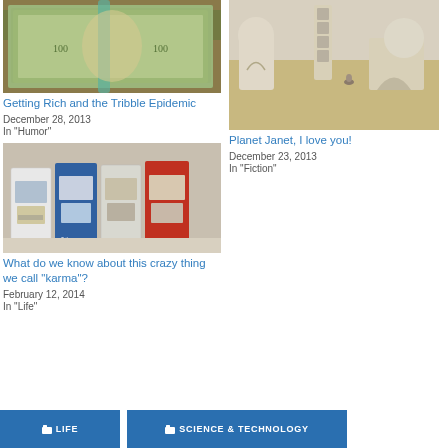[Figure (photo): Close-up photo of bundled US $100 bills with a rubber band]
Getting Rich and the Tribble Epidemic
December 28, 2013
In "Humor"
[Figure (photo): Desert landscape with white dome-shaped buildings and a person sitting, resembling Star Wars Tatooine set]
Planet Janet, I love you!
December 23, 2013
In "Fiction"
[Figure (photo): Row of newspaper vending machines (white, blue, and red) against a brick wall]
What do we know about this crazy thing we call “karma”?
February 12, 2014
In "Life"
LIFE   SCIENCE & TECHNOLOGY